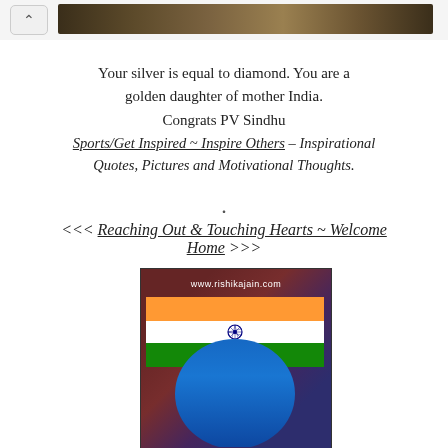[Figure (screenshot): Browser top bar with back button and dark banner image]
Your silver is equal to diamond. You are a golden daughter of mother India.
Congrats PV Sindhu
Sports/Get Inspired ~ Inspire Others – Inspirational Quotes, Pictures and Motivational Thoughts.
<<< Reaching Out & Touching Hearts ~ Welcome Home >>>
[Figure (photo): Photo of PV Sindhu holding the Indian tricolor flag with www.rishikajain.com watermark]